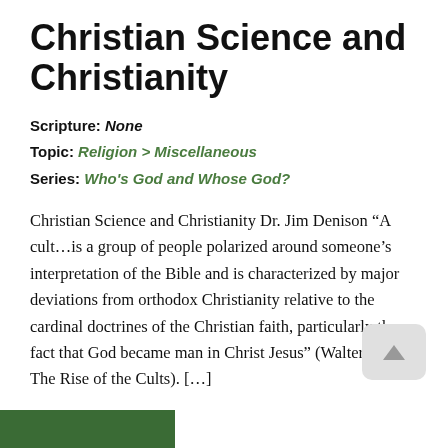Christian Science and Christianity
Scripture: None
Topic: Religion > Miscellaneous
Series: Who's God and Whose God?
Christian Science and Christianity Dr. Jim Denison “A cult…is a group of people polarized around someone’s interpretation of the Bible and is characterized by major deviations from orthodox Christianity relative to the cardinal doctrines of the Christian faith, particularly the fact that God became man in Christ Jesus” (Walter Martin, The Rise of the Cults). […]